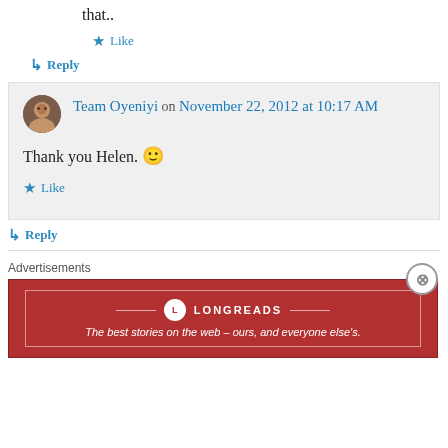that..
★ Like
↳ Reply
Team Oyeniyi on November 22, 2012 at 10:17 AM
Thank you Helen. 🙂
★ Like
↳ Reply
Advertisements
[Figure (logo): Longreads advertisement banner: red background with Longreads logo and tagline 'The best stories on the web – ours, and everyone else's.']